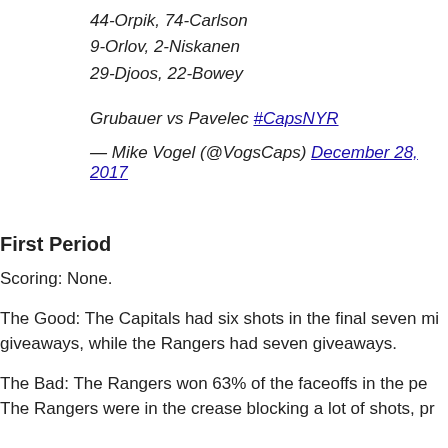44-Orpik, 74-Carlson
9-Orlov, 2-Niskanen
29-Djoos, 22-Bowey
Grubauer vs Pavelec #CapsNYR
— Mike Vogel (@VogsCaps) December 28, 2017
First Period
Scoring: None.
The Good: The Capitals had six shots in the final seven minutes, giveaways, while the Rangers had seven giveaways.
The Bad: The Rangers won 63% of the faceoffs in the period. The Rangers were in the crease blocking a lot of shots, pr